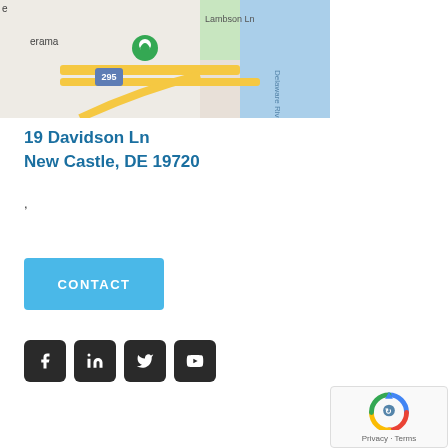[Figure (map): Google Maps screenshot showing area around 19 Davidson Ln, New Castle, DE. Shows Delaware River, Route 295, Lambson Ln, and a green location pin marker.]
19 Davidson Ln
New Castle, DE 19720
,
CONTACT
[Figure (infographic): Social media icons row: Facebook, LinkedIn, Twitter, YouTube — each in a dark rounded square button]
[Figure (other): reCAPTCHA widget showing spinning arrows logo and 'Privacy · Terms' text]